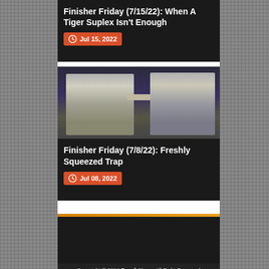Finisher Friday (7/15/22): When A Tiger Suplex Isn't Enough
Jul 15, 2022
[Figure (photo): Two wrestlers in a wrestling ring, facing each other with one reaching toward the other]
Finisher Friday (7/8/22): Freshly Squeezed Trap
Jul 08, 2022
Copyright © 2014 Smark Henry All Right Reserved